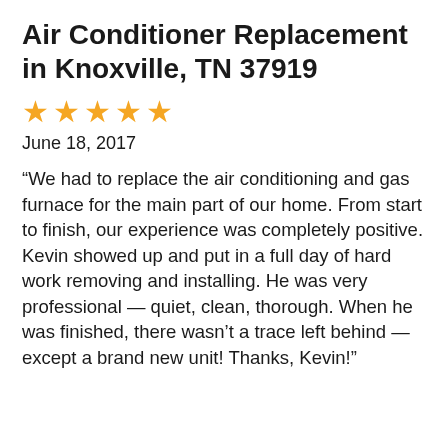Air Conditioner Replacement in Knoxville, TN 37919
[Figure (other): Five gold star rating icons]
June 18, 2017
“We had to replace the air conditioning and gas furnace for the main part of our home. From start to finish, our experience was completely positive. Kevin showed up and put in a full day of hard work removing and installing. He was very professional — quiet, clean, thorough. When he was finished, there wasn’t a trace left behind — except a brand new unit! Thanks, Kevin!”